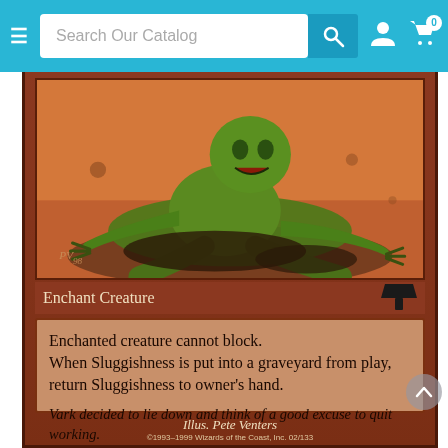Search Our Catalog
[Figure (illustration): Magic: The Gathering card illustration showing a green creature (goblin/troll) lying down on rocky ground in a desert setting, looking lazy. Artist signature PV98 visible in lower left of artwork.]
Enchant Creature
Enchanted creature cannot block. When Sluggishness is put into a graveyard from play, return Sluggishness to owner’s hand.
Vark decided to lie down and think of a good excuse to quit working.
Illus. Pete Venters
©1993–1999 Wizards of the Coast, Inc. 02/133